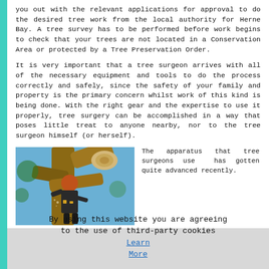you out with the relevant applications for approval to do the desired tree work from the local authority for Herne Bay. A tree survey has to be performed before work begins to check that your trees are not located in a Conservation Area or protected by a Tree Preservation Order.
It is very important that a tree surgeon arrives with all of the necessary equipment and tools to do the process correctly and safely, since the safety of your family and property is the primary concern whilst work of this kind is being done. With the right gear and the expertise to use it properly, tree surgery can be accomplished in a way that poses little treat to anyone nearby, nor to the tree surgeon himself (or herself).
[Figure (photo): A tree surgeon wearing an orange helmet and safety gear, working with a chainsaw among large tree branches against a blue sky.]
The apparatus that tree surgeons use has gotten quite advanced recently.
By using this website you are agreeing to the use of third-party cookies Learn More  OK